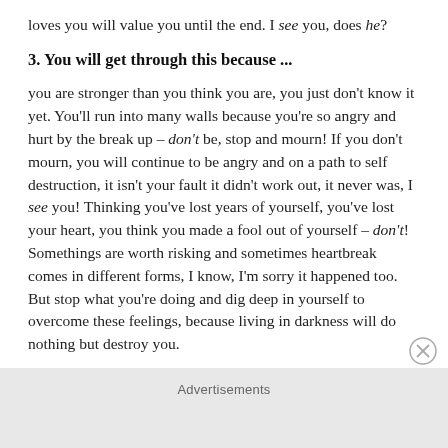loves you will value you until the end. I see you, does he?
3. You will get through this because ...
you are stronger than you think you are, you just don't know it yet. You'll run into many walls because you're so angry and hurt by the break up – don't be, stop and mourn! If you don't mourn, you will continue to be angry and on a path to self destruction, it isn't your fault it didn't work out, it never was, I see you! Thinking you've lost years of yourself, you've lost your heart, you think you made a fool out of yourself – don't! Somethings are worth risking and sometimes heartbreak comes in different forms, I know, I'm sorry it happened too. But stop what you're doing and dig deep in yourself to overcome these feelings, because living in darkness will do nothing but destroy you.
Advertisements